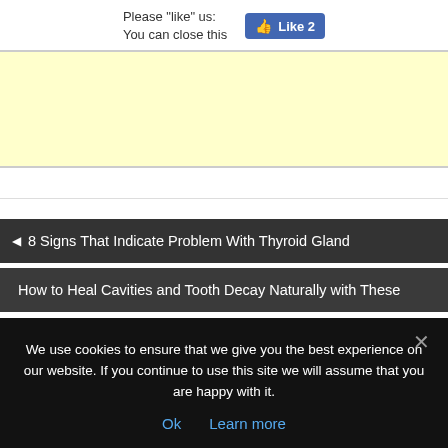Please "like" us: You can close this [Like 2 button]
[Figure (other): Yellow advertisement banner placeholder]
◄ 8 Signs That Indicate Problem With Thyroid Gland
How to Heal Cavities and Tooth Decay Naturally with These
We use cookies to ensure that we give you the best experience on our website. If you continue to use this site we will assume that you are happy with it.
Ok   Learn more